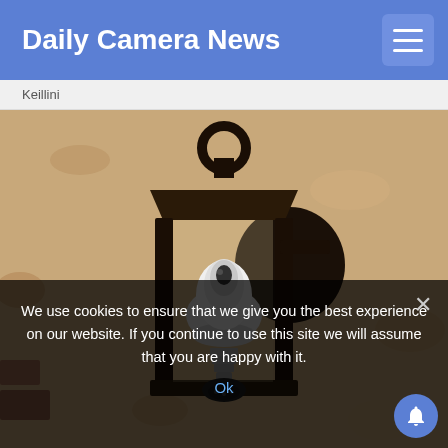Daily Camera News
Keillini
[Figure (photo): A black metal outdoor wall lantern with a white security camera bulb installed inside it, mounted on a textured stucco wall.]
We use cookies to ensure that we give you the best experience on our website. If you continue to use this site we will assume that you are happy with it.
Ok